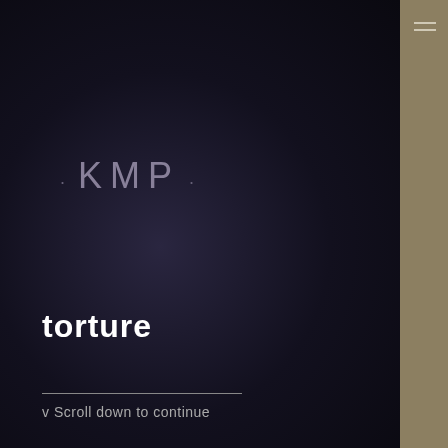[Figure (screenshot): Dark web page screenshot with near-black dark navy/purple background. Left main area shows a KMP logo text with decorative dots, a bold white 'torture' heading, and a scroll indicator at the bottom. Right sidebar is a khaki/tan color with a hamburger menu icon at top right.]
· KMP ·
torture
v Scroll down to continue